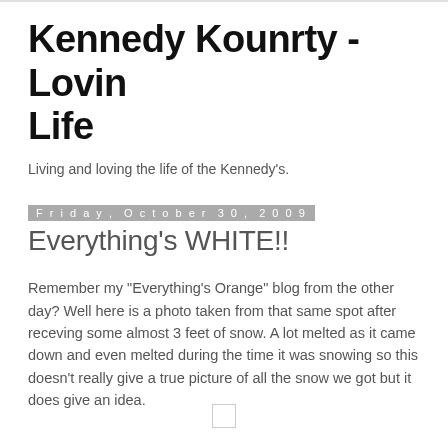Kennedy Kounrty - Lovin Life
Living and loving the life of the Kennedy's.
Friday, October 30, 2009
Everything's WHITE!!
Remember my "Everything's Orange" blog from the other day? Well here is a photo taken from that same spot after receving some almost 3 feet of snow. A lot melted as it came down and even melted during the time it was snowing so this doesn't really give a true picture of all the snow we got but it does give an idea.
[Figure (other): Small placeholder image box]